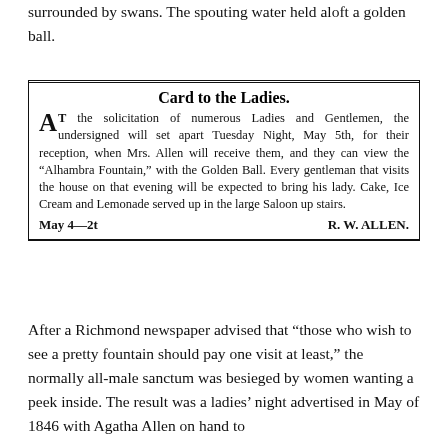surrounded by swans. The spouting water held aloft a golden ball.
[Figure (other): Newspaper advertisement box titled 'Card to the Ladies.' with text about R. W. Allen inviting ladies and gentlemen on Tuesday Night, May 5th, to view the Alhambra Fountain with the Golden Ball, with cake, ice cream and lemonade served upstairs. Signed May 4—2t, R. W. ALLEN.]
After a Richmond newspaper advised that “those who wish to see a pretty fountain should pay one visit at least,” the normally all-male sanctum was besieged by women wanting a peek inside. The result was a ladies’ night advertised in May of 1846 with Agatha Allen on hand to